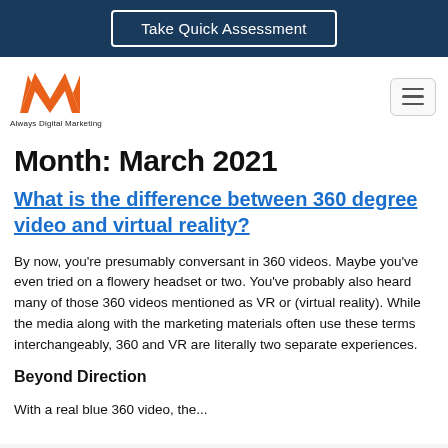Take Quick Assessment
[Figure (logo): Always Digital Marketing logo — orange M-shaped icon above the text 'Always Digital Marketing']
Month: March 2021
What is the difference between 360 degree video and virtual reality?
By now, you're presumably conversant in 360 videos. Maybe you've even tried on a flowery headset or two. You've probably also heard many of those 360 videos mentioned as VR or (virtual reality). While the media along with the marketing materials often use these terms interchangeably, 360 and VR are literally two separate experiences.
Beyond Direction
With a real blue 360 video, the...